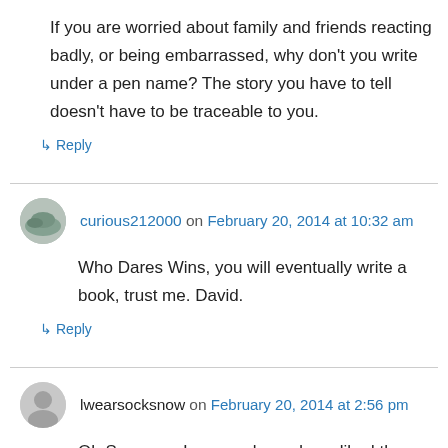If you are worried about family and friends reacting badly, or being embarrassed, why don't you write under a pen name? The story you have to tell doesn't have to be traceable to you.
↳ Reply
curious212000 on February 20, 2014 at 10:32 am
Who Dares Wins, you will eventually write a book, trust me. David.
↳ Reply
lwearsocksnow on February 20, 2014 at 2:56 pm
Oh Seaneen, I am so pleased you liked the tea and biscuits. I am still here, still wanting to be